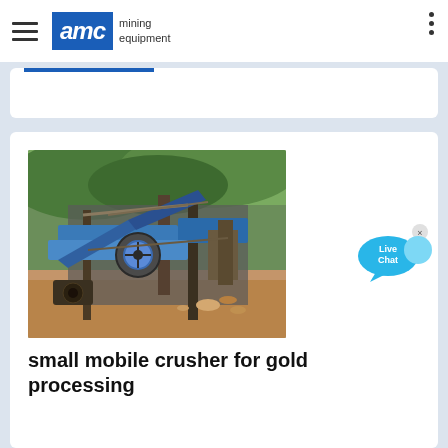AMC mining equipment
[Figure (photo): Mining equipment / crushing plant with blue machinery, conveyor belts, and green forested hills in the background]
small mobile crusher for gold processing
2017-5-27 · gold ore crusher plant for sale – 2020 New Type Low Price … Sep 13, 2021· Gold Ore Crushing Plant Crusher For Concrete Crushing